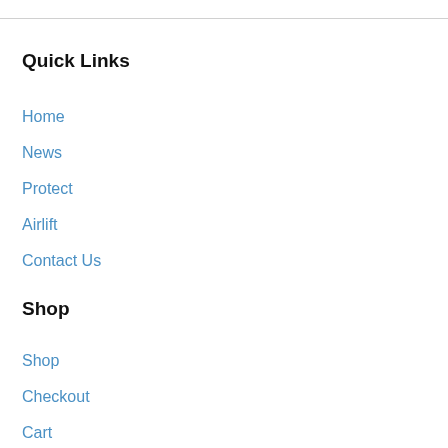Quick Links
Home
News
Protect
Airlift
Contact Us
Shop
Shop
Checkout
Cart
My account
Associate Area